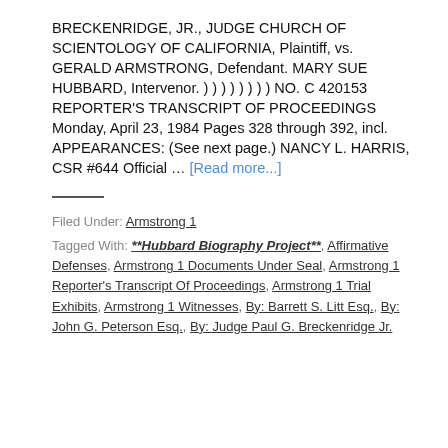BRECKENRIDGE, JR., JUDGE CHURCH OF SCIENTOLOGY OF CALIFORNIA, Plaintiff, vs. GERALD ARMSTRONG, Defendant. MARY SUE HUBBARD, Intervenor. ) ) ) ) ) ) ) ) NO. C 420153 REPORTER'S TRANSCRIPT OF PROCEEDINGS Monday, April 23, 1984 Pages 328 through 392, incl. APPEARANCES: (See next page.) NANCY L. HARRIS, CSR #644 Official … [Read more...]
Filed Under: Armstrong 1
Tagged With: **Hubbard Biography Project**, Affirmative Defenses, Armstrong 1 Documents Under Seal, Armstrong 1 Reporter's Transcript Of Proceedings, Armstrong 1 Trial Exhibits, Armstrong 1 Witnesses, By: Barrett S. Litt Esq., By: John G. Peterson Esq., By: Judge Paul G. Breckenridge Jr.